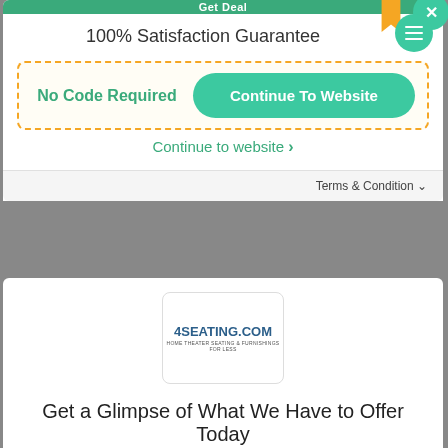100% Satisfaction Guarantee
No Code Required
Continue To Website
Continue to website ›
Terms & Condition ∨
[Figure (logo): 4SEATING.COM logo with tagline text below in a white rounded rectangle box]
Get a Glimpse of What We Have to Offer Today
Email Address